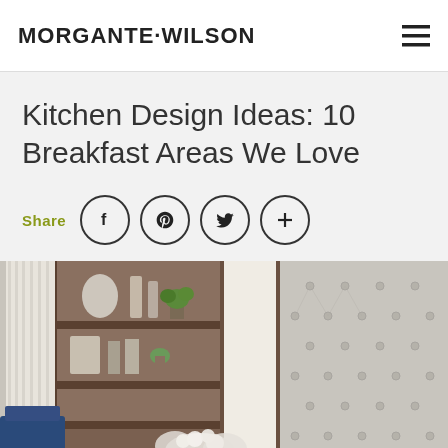MORGANTE·WILSON
Kitchen Design Ideas: 10 Breakfast Areas We Love
Share
[Figure (photo): Interior photo of a breakfast area featuring a tufted gray banquette, pendant globe lights, dark wood shelving with decor, blue chairs, and white floral centerpiece.]